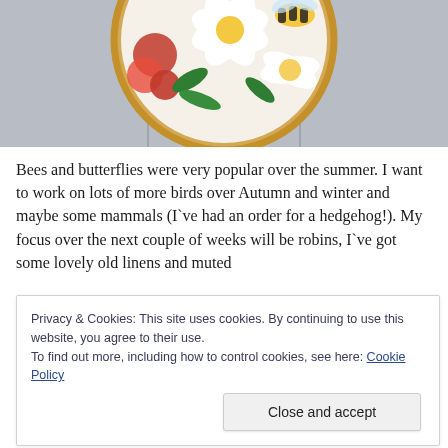[Figure (photo): Embroidery hoop with floral and bee design on a light gray wooden background, showing red and white flowers with a bumblebee, partially cropped at the top]
Bees and butterflies were very popular over the summer. I want to work on lots of more birds over Autumn and winter and maybe some mammals (I`ve had an order for a hedgehog!). My focus over the next couple of weeks will be robins, I`ve got some lovely old linens and muted
Privacy & Cookies: This site uses cookies. By continuing to use this website, you agree to their use.
To find out more, including how to control cookies, see here: Cookie Policy
sketchbook, but for sale in my Etsy shop.